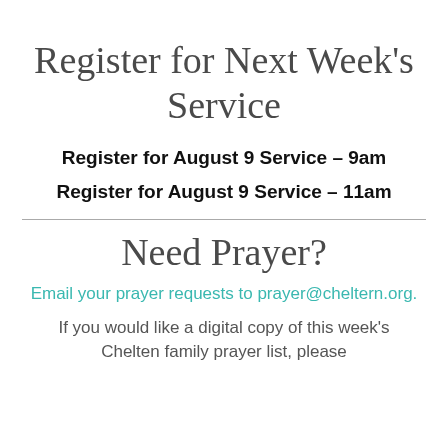Register for Next Week's Service
Register for August 9 Service – 9am
Register for August 9 Service – 11am
Need Prayer?
Email your prayer requests to prayer@cheltern.org.
If you would like a digital copy of this week's Chelten family prayer list, please